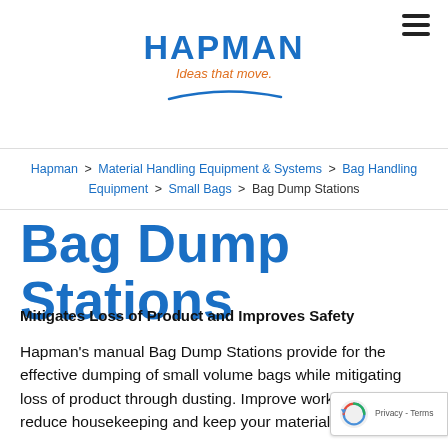[Figure (logo): Hapman logo with 'Ideas that move.' tagline and blue swoosh graphic]
Hapman > Material Handling Equipment & Systems > Bag Handling Equipment > Small Bags > Bag Dump Stations
Bag Dump Stations
Mitigates Loss of Product and Improves Safety
Hapman's manual Bag Dump Stations provide for the effective dumping of small volume bags while mitigating loss of product through dusting. Improve worker safety, reduce housekeeping and keep your material in the